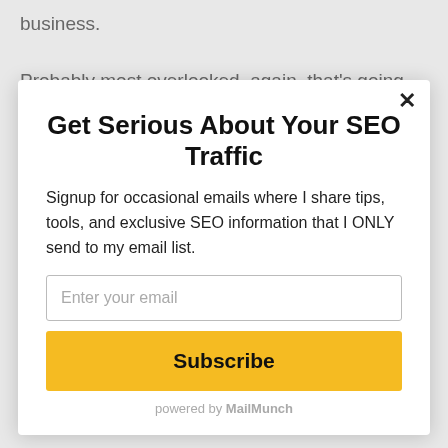business.
Probably most overlooked, again, that's going back to a small or big deal, generally speaking, the bigger the deal is
Get Serious About Your SEO Traffic
Signup for occasional emails where I share tips, tools, and exclusive SEO information that I ONLY send to my email list.
Enter your email
Subscribe
powered by MailMunch